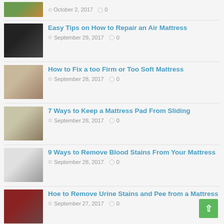October 2, 2017  0
Easy Tips on How to Repair an Air Mattress — September 29, 2017  0
How to Fix a too Firm or Too Soft Mattress — September 28, 2017  0
7 Ways to Keep a Mattress Pad From Sliding — September 28, 2017  0
9 Ways to Remove Blood Stains From Your Mattress — September 28, 2017  0
Hoe to Remove Urine Stains and Pee from a Mattress — September 27, 2017  0